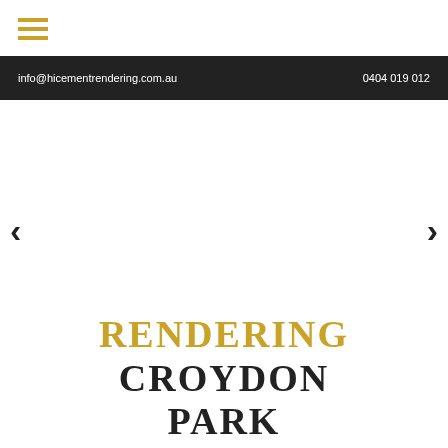[Figure (screenshot): Hamburger menu icon with three horizontal golden/yellow lines]
info@hicementrendering.com.au   0404 019 012
[Figure (illustration): Carousel navigation arrows (left chevron and right chevron) on white background]
RENDERING CROYDON PARK